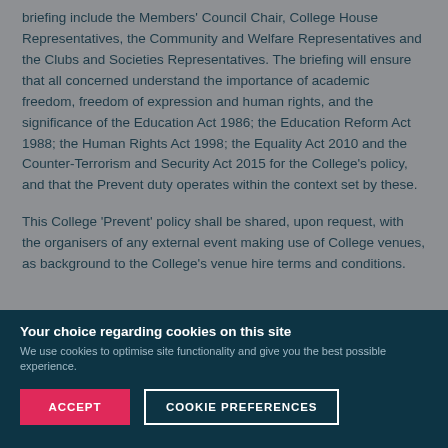briefing include the Members' Council Chair, College House Representatives, the Community and Welfare Representatives and the Clubs and Societies Representatives. The briefing will ensure that all concerned understand the importance of academic freedom, freedom of expression and human rights, and the significance of the Education Act 1986; the Education Reform Act 1988; the Human Rights Act 1998; the Equality Act 2010 and the Counter-Terrorism and Security Act 2015 for the College's policy, and that the Prevent duty operates within the context set by these.
This College 'Prevent' policy shall be shared, upon request, with the organisers of any external event making use of College venues, as background to the College's venue hire terms and conditions.
Your choice regarding cookies on this site
We use cookies to optimise site functionality and give you the best possible experience.